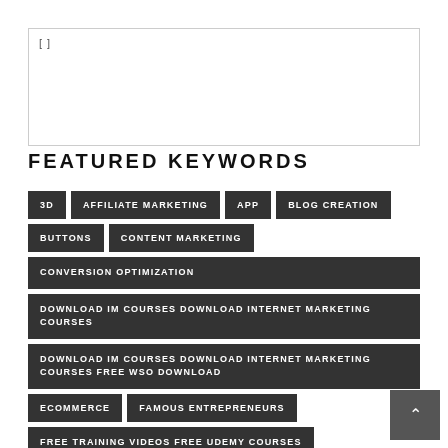FEATURED KEYWORDS
3D
AFFILIATE MARKETING
APP
BLOG CREATION
BUTTONS
CONTENT MARKETING
CONVERSION OPTIMIZATION
DOWNLOAD IM COURSES DOWNLOAD INTERNET MARKETING COURSES
DOWNLOAD IM COURSES DOWNLOAD INTERNET MARKETING COURSES FREE WSO DOWNLOAD
ECOMMERCE
FAMOUS ENTREPRENEURS
FREE TRAINING VIDEOS FREE UDEMY COURSES
FREE WSO DOWNLOAD
GRAPHICS
ICONS